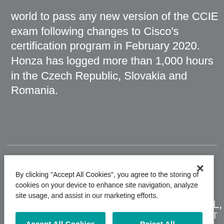world to pass any new version of the CCIE exam following changes to Cisco's certification program in February 2020. Honza has logged more than 1,000 hours in the Czech Republic, Slovakia and Romania.
[Figure (screenshot): Cookie consent dialog overlay with 'Accept All Cookies', 'Reject All', and 'Customize Settings' buttons on a teal/green color scheme, with an X close button in the top right.]
responsible for the comprehensive development of ICT